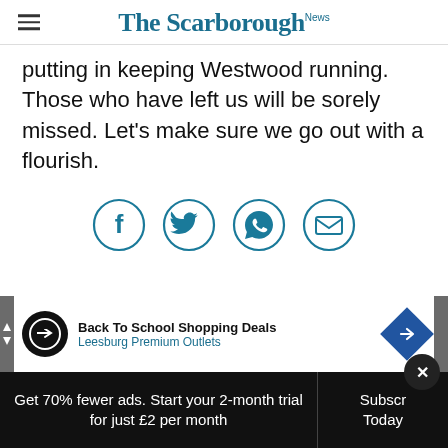The Scarborough News
putting in keeping Westwood running. Those who have left us will be sorely missed. Let's make sure we go out with a flourish.
[Figure (infographic): Social share icons: Facebook, Twitter, WhatsApp, Email — each in a teal circle outline]
[Figure (infographic): Advertisement banner: Back To School Shopping Deals, Leesburg Premium Outlets]
Get 70% fewer ads. Start your 2-month trial for just £2 per month
Subscribe Today